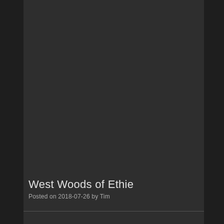[Figure (photo): Dark background photo, largely indistinct, dark woodland or landscape scene with very low visibility]
West Woods of Ethie
Posted on 2018-07-26 by Tim